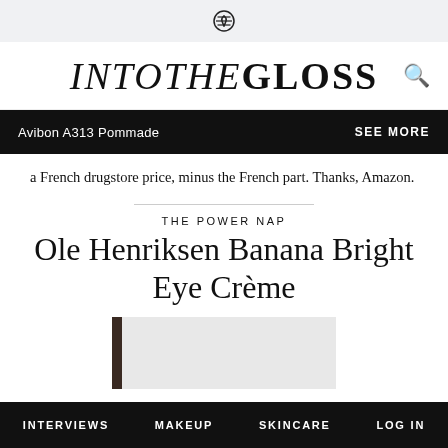Into The Gloss — logo header with search icon
Avibon A313 Pommade   SEE MORE
a French drugstore price, minus the French part. Thanks, Amazon.
THE POWER NAP
Ole Henriksen Banana Bright Eye Crème
[Figure (photo): Product image showing Ole Henriksen Banana Bright Eye Crème container with dark stripe on light background]
INTERVIEWS   MAKEUP   SKINCARE   LOG IN